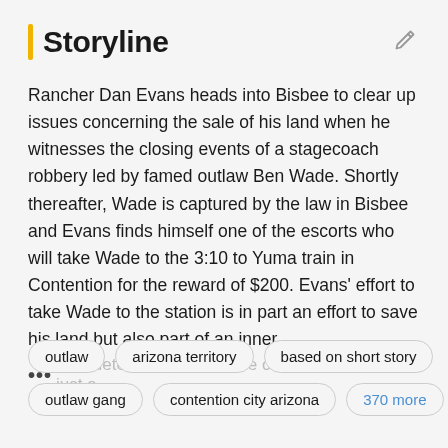Storyline
Rancher Dan Evans heads into Bisbee to clear up issues concerning the sale of his land when he witnesses the closing events of a stagecoach robbery led by famed outlaw Ben Wade. Shortly thereafter, Wade is captured by the law in Bisbee and Evans finds himself one of the escorts who will take Wade to the 3:10 to Yuma train in Contention for the reward of $200. Evans' effort to take Wade to the station is in part an effort to save his land but also part of an inner … le to determine whether he can be more than just a
outlaw
arizona territory
based on short story
outlaw gang
contention city arizona
370 more